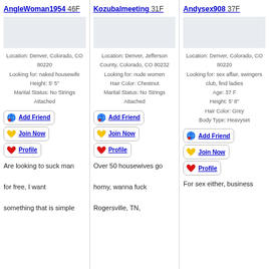AngleWoman1954 46F
Location: Denver, Colorado, CO
80220
Looking for: naked housewife
Height: 5' 5"
Marital Status: No Strings
Attached
Add Friend
Join Now
Profile
Are looking to suck man for free, I want something that is simple
Kozubalmeeting 31F
Location: Denver, Jefferson County, Colorado, CO 80232
Looking for: nude women
Hair Color: Chestnut
Marital Status: No Strings
Attached
Add Friend
Join Now
Profile
Over 50 housewives go horny, wanna fuck Rogersville, TN,
Andysex908 37F
Location: Denver, Colorado, CO
80220
Looking for: sex affair, swingers club, find ladies
Age: 37 F
Height: 5' 8"
Hair Color: Grey
Body Type: Heavyset
Add Friend
Join Now
Profile
For sex either, business